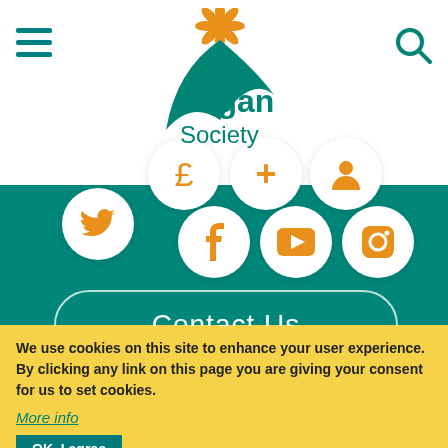[Figure (logo): The Vegan Society logo with orange flower/leaf icon above green V-leaf and text 'The VeganSociety']
[Figure (infographic): Seven circular social media / action icons: Twitter, Pound sign, Plus, Facebook, Person, YouTube, Instagram — in orange on white circles]
Contact Us
We use cookies on this site to enhance your user experience. By clicking any link on this page you are giving your consent for us to set cookies.
More info
OK, I agree